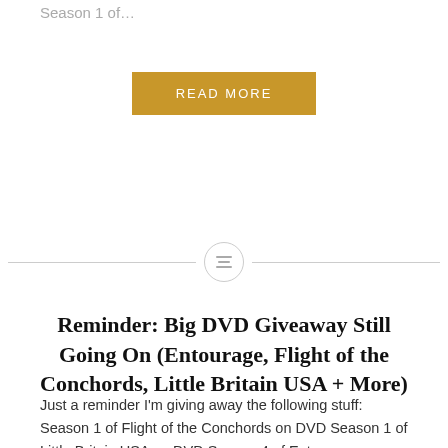Season 1 of…
[Figure (other): Gold/yellow 'READ MORE' button]
[Figure (other): Horizontal divider line with circle icon in center containing a text/menu icon]
Reminder: Big DVD Giveaway Still Going On (Entourage, Flight of the Conchords, Little Britain USA + More)
Just a reminder I'm giving away the following stuff: Season 1 of Flight of the Conchords on DVD Season 1 of Little Britain USA on DVD Season 4 of Entourage on DVD, and an Eastbound and Down Foam Finger! To enter to win, send an